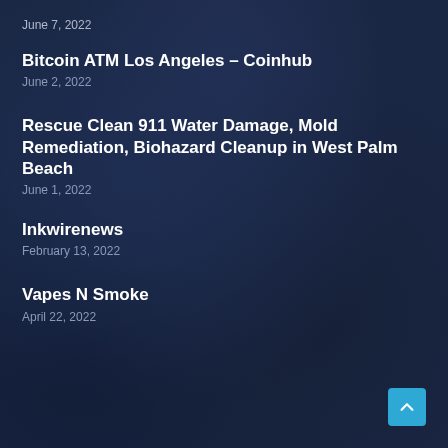June 7, 2022
Bitcoin ATM Los Angeles – Coinhub
June 2, 2022
Rescue Clean 911 Water Damage, Mold Remediation, Biohazard Cleanup in West Palm Beach
June 1, 2022
Inkwirenews
February 13, 2022
Vapes N Smoke
April 22, 2022